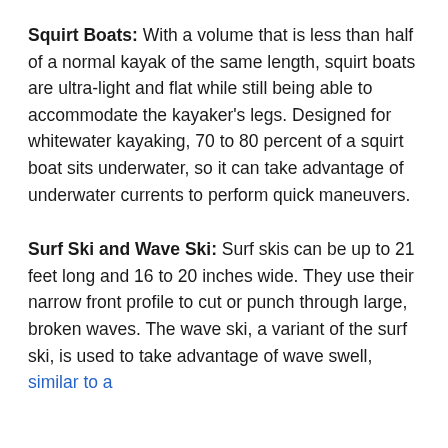Squirt Boats: With a volume that is less than half of a normal kayak of the same length, squirt boats are ultra-light and flat while still being able to accommodate the kayaker's legs. Designed for whitewater kayaking, 70 to 80 percent of a squirt boat sits underwater, so it can take advantage of underwater currents to perform quick maneuvers.
Surf Ski and Wave Ski: Surf skis can be up to 21 feet long and 16 to 20 inches wide. They use their narrow front profile to cut or punch through large, broken waves. The wave ski, a variant of the surf ski, is used to take advantage of wave swell, similar to a